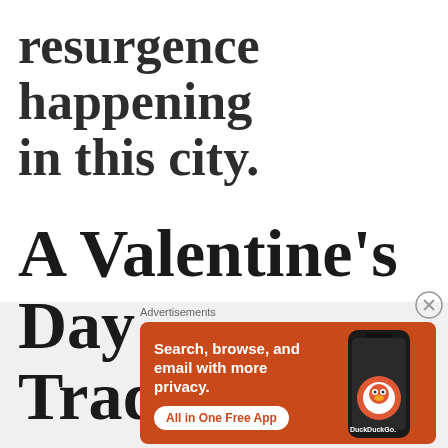resurgence happening in this city.
A Valentine's Day Tradition
Advertisements
[Figure (other): DuckDuckGo advertisement banner with orange background. Text reads: 'Search, browse, and email with more privacy. All in One Free App' with DuckDuckGo logo and phone graphic.]